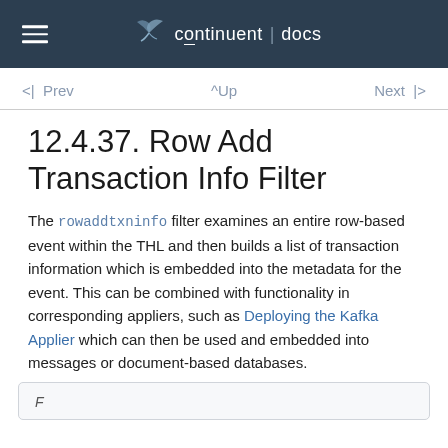continuent | docs
<| Prev   ^Up   Next |>
12.4.37. Row Add Transaction Info Filter
The rowaddtxninfo filter examines an entire row-based event within the THL and then builds a list of transaction information which is embedded into the metadata for the event. This can be combined with functionality in corresponding appliers, such as Deploying the Kafka Applier which can then be used and embedded into messages or document-based databases.